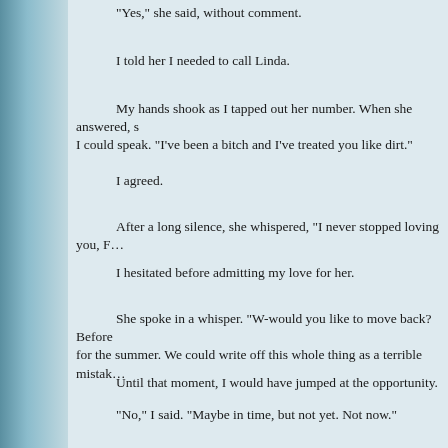“Yes,” she said, without comment.
I told her I needed to call Linda.
My hands shook as I tapped out her number.  When she answered, s… I could speak.  “I’ve been a bitch and I’ve treated you like dirt.”
I agreed.
After a long silence, she whispered, “I never stopped loving you, F…
I hesitated before admitting my love for her.
She spoke in a whisper.  “W-would you like to move back?  Before… for the summer. We could write off this whole thing as a terrible mistak…
Until that moment, I would have jumped at the opportunity.
“No,” I said.  “Maybe in time, but not yet.  Not now.”
“I’m afraid of being alone,” she said, her voice distant and sad.
“I know.  It’s hard.”